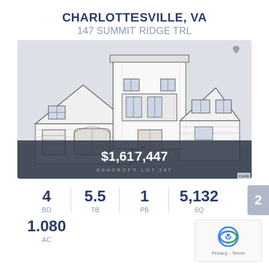CHARLOTTESVILLE, VA
147 SUMMIT RIDGE TRL
[Figure (illustration): Architectural sketch/rendering of a large two-story house with multiple gables, garage, and front porch. Overlay shows price $1,617,447 and text ASHCROFT LOT 147. Heart icon in top right corner.]
4 BD  5.5 TB  1 PB  5,132 SQ
1.080 AC